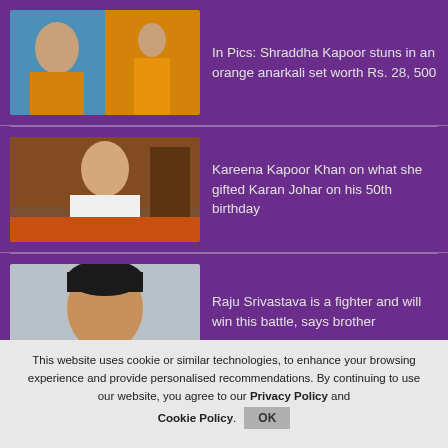[Figure (photo): Shraddha Kapoor close-up portrait and full-body in orange anarkali dress]
In Pics: Shraddha Kapoor stuns in an orange anarkali set worth Rs. 28,500
[Figure (photo): Kareena Kapoor Khan seated in white shirt in an interview setting]
Kareena Kapoor Khan on what she gifted Karan Johar on his 50th birthday
[Figure (photo): Raju Srivastava portrait headshot]
Raju Srivastava is a fighter and will win this battle, says brother
This website uses cookie or similar technologies, to enhance your browsing experience and provide personalised recommendations. By continuing to use our website, you agree to our Privacy Policy and Cookie Policy.